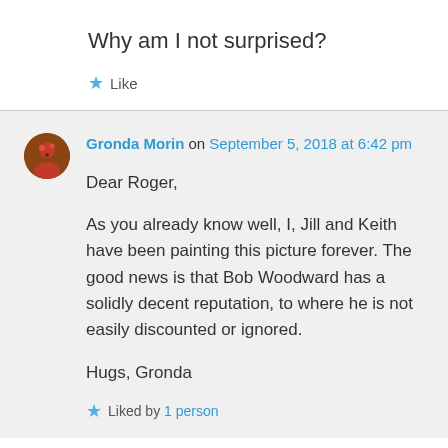Why am I not surprised?
Like
Gronda Morin on September 5, 2018 at 6:42 pm
Dear Roger,

As you already know well, I, Jill and Keith have been painting this picture forever. The good news is that Bob Woodward has a solidly decent reputation, to where he is not easily discounted or ignored.

Hugs, Gronda
Liked by 1 person